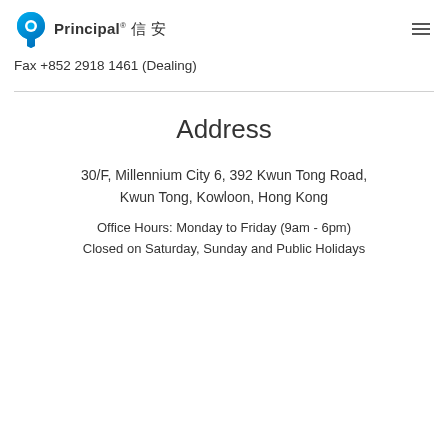Principal® 信安
Fax +852 2918 1461 (Dealing)
Address
30/F, Millennium City 6, 392 Kwun Tong Road, Kwun Tong, Kowloon, Hong Kong
Office Hours: Monday to Friday (9am - 6pm)
Closed on Saturday, Sunday and Public Holidays